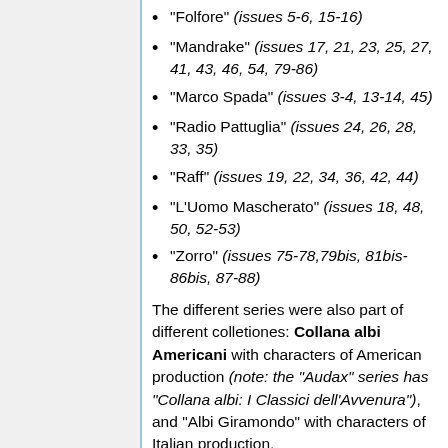"Folfore" (issues 5-6, 15-16)
"Mandrake" (issues 17, 21, 23, 25, 27, 41, 43, 46, 54, 79-86)
"Marco Spada" (issues 3-4, 13-14, 45)
"Radio Pattuglia" (issues 24, 26, 28, 33, 35)
"Raff" (issues 19, 22, 34, 36, 42, 44)
"L'Uomo Mascherato" (issues 18, 48, 50, 52-53)
"Zorro" (issues 75-78,79bis, 81bis-86bis, 87-88)
The different series were also part of different colletiones: Collana albi Americani with characters of American production (note: the "Audax" series has "Collana albi: I Classici dell'Avvenura"), and "Albi Giramondo" with characters of Italian production.